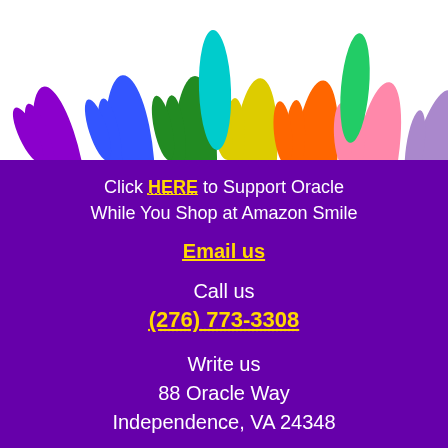[Figure (illustration): Colorful raised hands silhouettes (rainbow colors) on white background]
Click HERE to Support Oracle While You Shop at Amazon Smile
Email us
Call us
(276) 773-3308
Write us
88 Oracle Way
Independence, VA 24348
Visit us
[Figure (other): PayPal Donate button with golden rounded rectangle and italic green Donate text, with credit card logos below (MasterCard, Visa, AmEx, Discover, Bank)]
PayPal or Credit Card